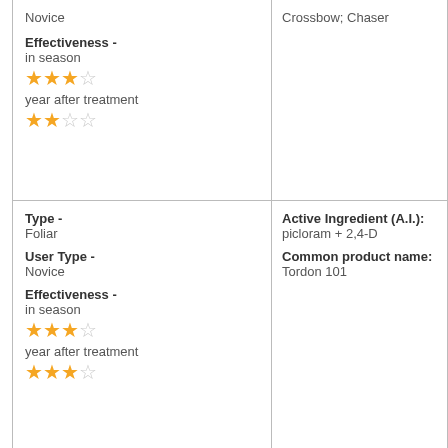| Novice

Effectiveness -
in season
★★★☆
year after treatment
★★☆☆ | Crossbow; Chaser |
| Type -
Foliar

User Type -
Novice

Effectiveness -
in season
★★★☆
year after treatment
★★★☆ | Active Ingredient (A.I.):
picloram + 2,4-D

Common product name:
Tordon 101 |